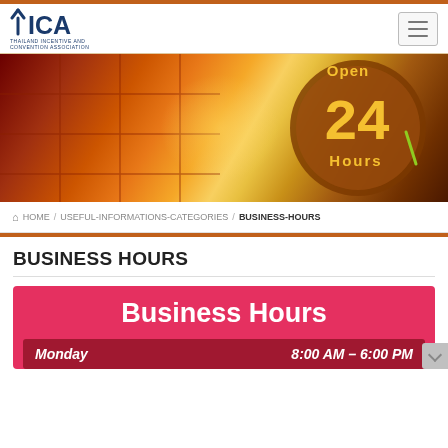[Figure (logo): TICA - Thailand Incentive and Convention Association logo with fork-shaped T icon]
[Figure (photo): Hero banner image showing a glowing orange 24-hour clock with '24 Hours' text and 'Open' text, orange and red tones]
HOME / USEFUL-INFORMATIONS-CATEGORIES / BUSINESS-HOURS
BUSINESS HOURS
Business Hours
Monday  8:00 AM – 6:00 PM